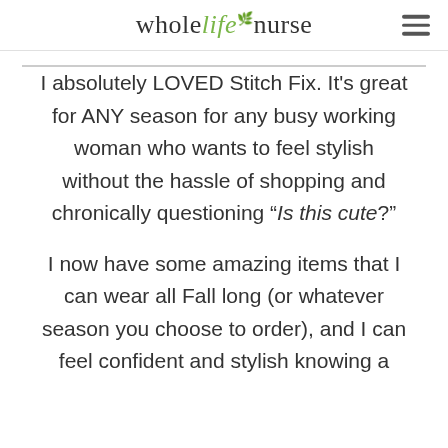wholelifenurse
I absolutely LOVED Stitch Fix. It's great for ANY season for any busy working woman who wants to feel stylish without the hassle of shopping and chronically questioning “Is this cute?”
I now have some amazing items that I can wear all Fall long (or whatever season you choose to order), and I can feel confident and stylish knowing a